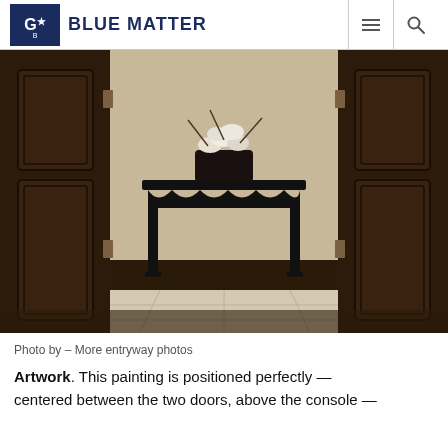BLUE MATTER
[Figure (photo): Interior entryway photo showing two dark wood double doors open to reveal a black console table with a floral arrangement on top, set against a beige wall, with light marble/travertine tile flooring visible through the doorway and dark hardwood in the foreground.]
Photo by – More entryway photos
Artwork. This painting is positioned perfectly — centered between the two doors, above the console —